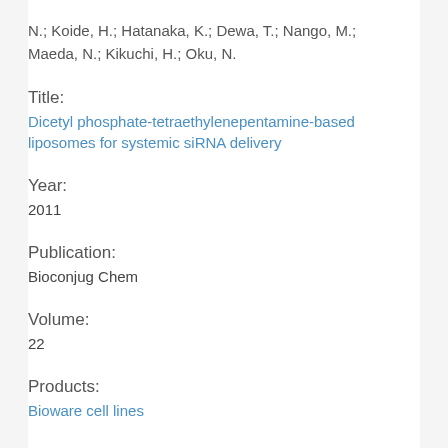N.; Koide, H.; Hatanaka, K.; Dewa, T.; Nango, M.; Maeda, N.; Kikuchi, H.; Oku, N.
Title:
Dicetyl phosphate-tetraethylenepentamine-based liposomes for systemic siRNA delivery
Year:
2011
Publication:
Bioconjug Chem
Volume:
22
Products:
Bioware cell lines